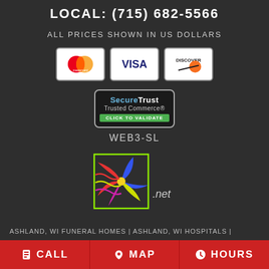LOCAL: (715) 682-5566
ALL PRICES SHOWN IN US DOLLARS
[Figure (logo): Payment method logos: Mastercard, Visa, Discover]
[Figure (logo): SecureTrust Trusted Commerce - Click to Validate badge]
WEB3-SL
[Figure (logo): Colorful pinwheel/windmill logo with .net text]
ASHLAND, WI FUNERAL HOMES | ASHLAND, WI HOSPITALS |
CALL | MAP | HOURS